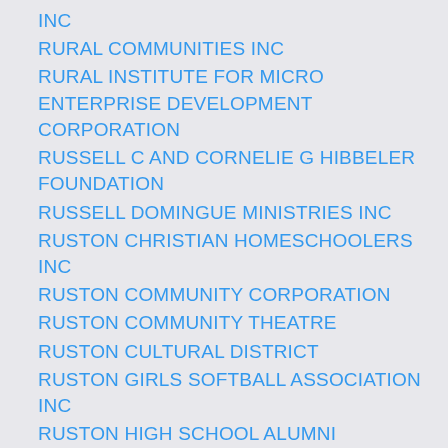INC
RURAL COMMUNITIES INC
RURAL INSTITUTE FOR MICRO ENTERPRISE DEVELOPMENT CORPORATION
RUSSELL C AND CORNELIE G HIBBELER FOUNDATION
RUSSELL DOMINGUE MINISTRIES INC
RUSTON CHRISTIAN HOMESCHOOLERS INC
RUSTON COMMUNITY CORPORATION
RUSTON COMMUNITY THEATRE
RUSTON CULTURAL DISTRICT
RUSTON GIRLS SOFTBALL ASSOCIATION INC
RUSTON HIGH SCHOOL ALUMNI ASSOCIATION INC
RUSTON-LINCOLN COMMUNITY FOUNDATION
RUSTON LINCOLN CRIMESTOPPERS
RUSTON RANGERS BASEBALL